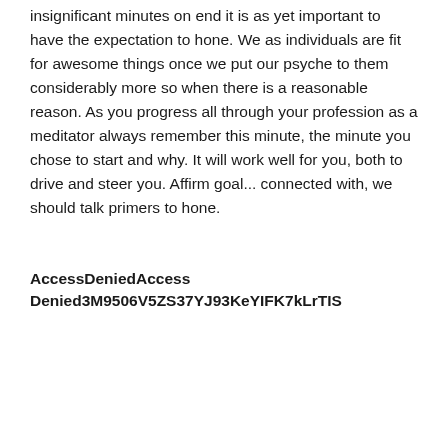insignificant minutes on end it is as yet important to have the expectation to hone. We as individuals are fit for awesome things once we put our psyche to them considerably more so when there is a reasonable reason. As you progress all through your profession as a meditator always remember this minute, the minute you chose to start and why. It will work well for you, both to drive and steer you. Affirm goal... connected with, we should talk primers to hone.
AccessDeniedAccess Denied3M9506V5ZS37YJ93KeYIFK7kLrTIS